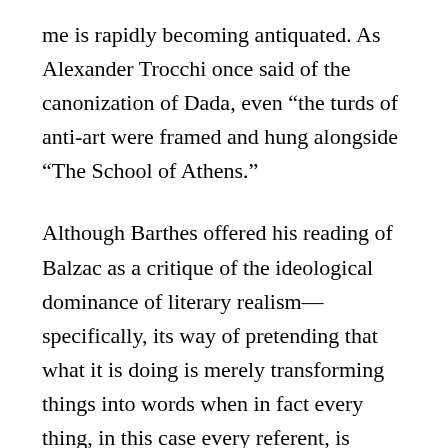me is rapidly becoming antiquated. As Alexander Trocchi once said of the canonization of Dada, even “the turds of anti-art were framed and hung alongside “The School of Athens.”
Although Barthes offered his reading of Balzac as a critique of the ideological dominance of literary realism—specifically, its way of pretending that what it is doing is merely transforming things into words when in fact every thing, in this case every referent, is already produced through the combination of a number of interpretive codes—Barthes would be the first to acknowledge what time has made increasingly